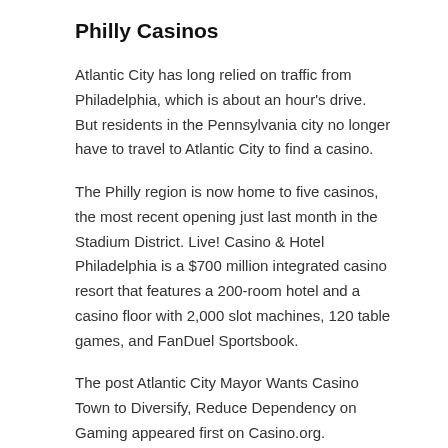Philly Casinos
Atlantic City has long relied on traffic from Philadelphia, which is about an hour’s drive. But residents in the Pennsylvania city no longer have to travel to Atlantic City to find a casino.
The Philly region is now home to five casinos, the most recent opening just last month in the Stadium District. Live! Casino & Hotel Philadelphia is a $700 million integrated casino resort that features a 200-room hotel and a casino floor with 2,000 slot machines, 120 table games, and FanDuel Sportsbook.
The post Atlantic City Mayor Wants Casino Town to Diversify, Reduce Dependency on Gaming appeared first on Casino.org.
Category:  Gambling News